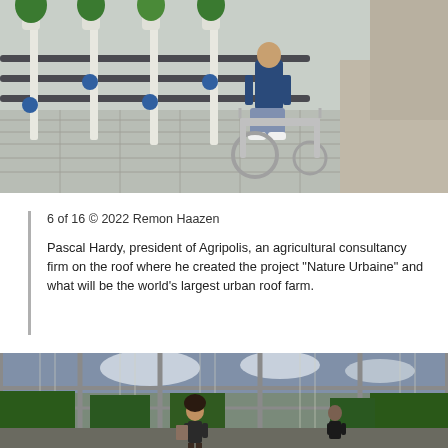[Figure (photo): Person in a wheelchair on a rooftop farm/garden with vertical growing towers and pipes; gravel and paving tiles visible; rooftop agricultural setup]
6 of 16 © 2022 Remon Haazen
Pascal Hardy, president of Agripolis, an agricultural consultancy firm on the roof where he created the project "Nature Urbaine" and what will be the world's largest urban roof farm.
[Figure (photo): Interior of a large greenhouse with tall green plants (tomatoes/peppers), glass roof showing blue sky with clouds; two workers visible tending to the plants]